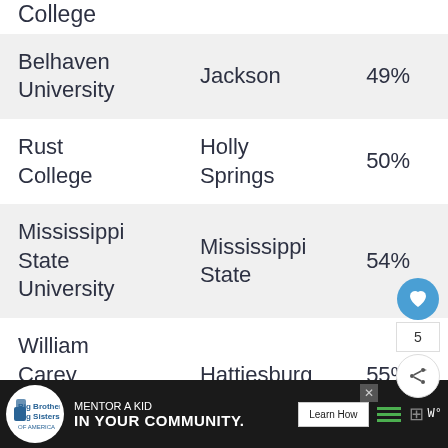| College | City | Rate |
| --- | --- | --- |
| College |  |  |
| Belhaven University | Jackson | 49% |
| Rust College | Holly Springs | 50% |
| Mississippi State University | Mississippi State | 54% |
| William Carey University | Hattiesburg | 55% |
[Figure (other): Advertisement bar: Big Brothers Big Sisters 'Mentor a Kid in Your Community' with Learn How button]